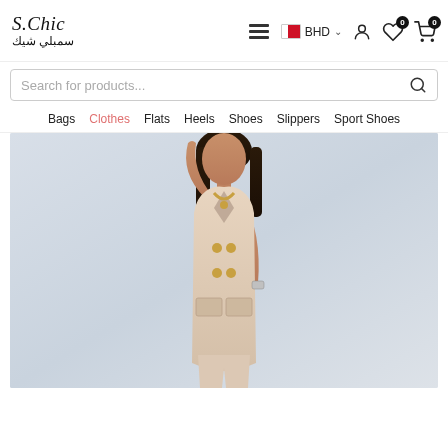[Figure (logo): S.Chic brand logo with Arabic text - سمبلي شيك]
Navigation bar with hamburger menu, BHD currency selector, user account icon, wishlist icon with badge 0, cart icon with badge 0
Search for products...
Bags  Clothes  Flats  Heels  Shoes  Slippers  Sport Shoes
[Figure (photo): Fashion model wearing a beige/nude sleeveless double-breasted long vest with gold buttons and matching wide-leg pants, posing with one arm raised behind her head, wearing gold jewelry, against a light grey-blue background]